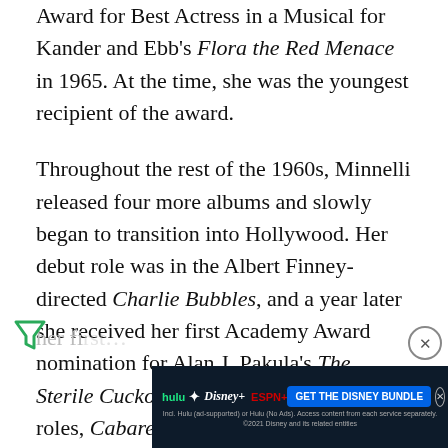Award for Best Actress in a Musical for Kander and Ebb's Flora the Red Menace in 1965. At the time, she was the youngest recipient of the award.
Throughout the rest of the 1960s, Minnelli released four more albums and slowly began to transition into Hollywood. Her debut role was in the Albert Finney-directed Charlie Bubbles, and a year later she received her first Academy Award nomination for Alan J. Pakula's The Sterile Cuckoo. But despite these early roles, Cabaret still feels like Minnelli's real debut because it was her fi...
[Figure (screenshot): Advertisement banner for Disney Bundle (Hulu, Disney+, ESPN+) with 'GET THE DISNEY BUNDLE' call-to-action button and fine print.]